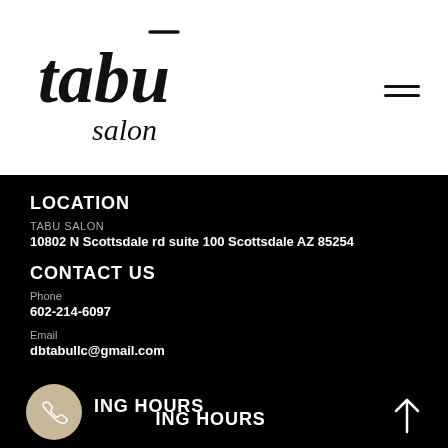[Figure (logo): Tabu Salon handwritten script logo in black ink on white background]
LOCATION
TABU SALON
10802 N Scottsdale rd suite 100 Scottsdale AZ 85254
CONTACT US
Phone
602-214-6097
Email
dbtabullc@gmail.com
WORKING HOURS